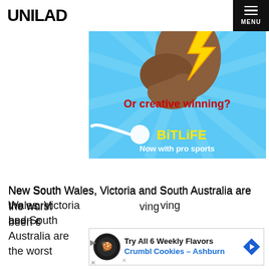UNILAD
[Figure (illustration): BitLife game advertisement showing a flexing arm emoji with a lightning bolt, text 'Or creative winning?' in red and white, BitLife logo in yellow, and 'Now with pro sports' tagline on a blue sunburst background]
New South Wales, Victoria and South Australia are the worst having been c
[Figure (illustration): Inline advertisement for Crumbl Cookies - Ashburn with 'Try All 6 Weekly Flavors' text, showing cookie icon and navigation arrow]